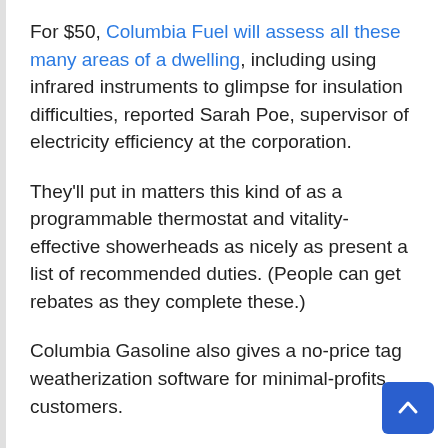For $50, Columbia Fuel will assess all these many areas of a dwelling, including using infrared instruments to glimpse for insulation difficulties, reported Sarah Poe, supervisor of electricity efficiency at the corporation.
They'll put in matters this kind of as a programmable thermostat and vitality-effective showerheads as nicely as present a list of recommended duties. (People can get rebates as they complete these.)
Columbia Gasoline also gives a no-price tag weatherization software for minimal-profits customers.
Poe said that though there is a bit of a waiting listing for the audit program (January correct